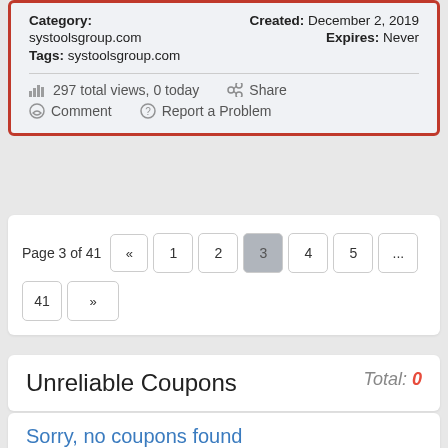Category: systoolsgroup.com  Tags: systoolsgroup.com  Created: December 2, 2019  Expires: Never
297 total views, 0 today  Share  Comment  Report a Problem
Page 3 of 41  «  1  2  3  4  5  ...  41  »
Unreliable Coupons  Total: 0
Sorry, no coupons found